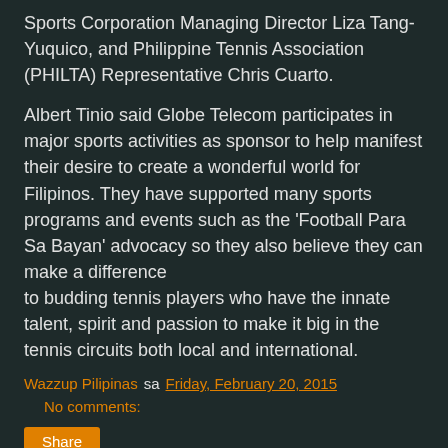Sports Corporation Managing Director Liza Tang-Yuquico, and Philippine Tennis Association (PHILTA) Representative Chris Cuarto.
Albert Tinio said Globe Telecom participates in major sports activities as sponsor to help manifest their desire to create a wonderful world for Filipinos. They have supported many sports programs and events such as the 'Football Para Sa Bayan' advocacy so they also believe they can make a difference to budding tennis players who have the innate talent, spirit and passion to make it big in the tennis circuits both local and international.
Wazzup Pilipinas sa Friday, February 20, 2015    No comments:
Share
Thursday, February 19, 2015
1st Philippine Healthcare Social Media Summit Coming in Social Media and